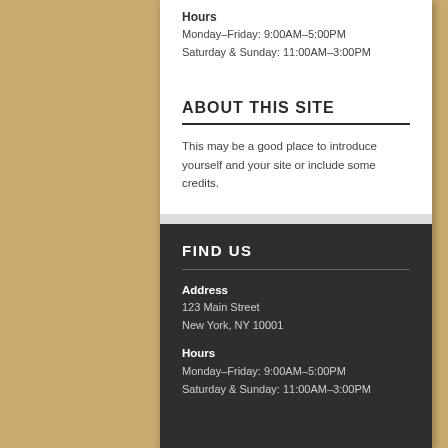Hours
Monday–Friday: 9:00AM–5:00PM
Saturday & Sunday: 11:00AM–3:00PM
ABOUT THIS SITE
This may be a good place to introduce yourself and your site or include some credits.
FIND US
Address
123 Main Street
New York, NY 10001
Hours
Monday–Friday: 9:00AM–5:00PM
Saturday & Sunday: 11:00AM–3:00PM